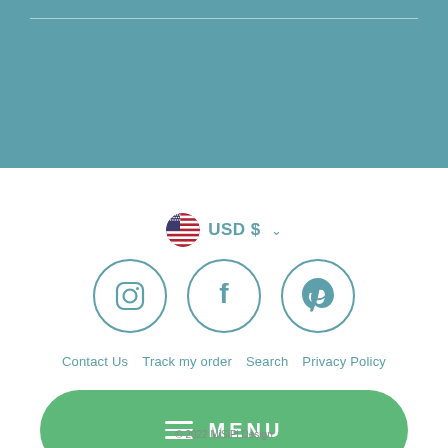[Figure (screenshot): Teal/blue-green header banner at the top of the page with a faint horizontal divider line]
USD $ ▾
[Figure (infographic): Three social media icon circles: Instagram, Facebook, Pinterest — outlined in teal]
Contact Us   Track my order   Search   Privacy Policy
Refund Policy   Shipping Policy   Terms Of Service
Community
[Figure (other): Green rounded pill-shaped MENU button with hamburger icon and MENU text in white]
© 2022 MiSiPi Design